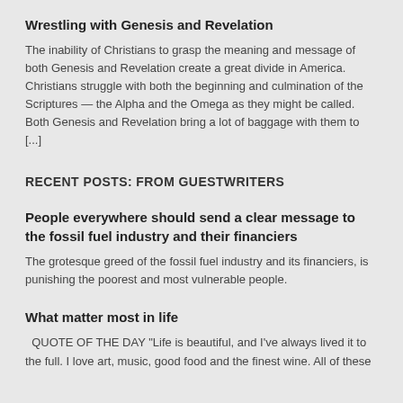Wrestling with Genesis and Revelation
The inability of Christians to grasp the meaning and message of both Genesis and Revelation create a great divide in America. Christians struggle with both the beginning and culmination of the Scriptures — the Alpha and the Omega as they might be called. Both Genesis and Revelation bring a lot of baggage with them to [...]
RECENT POSTS: FROM GUESTWRITERS
People everywhere should send a clear message to the fossil fuel industry and their financiers
The grotesque greed of the fossil fuel industry and its financiers, is punishing the poorest and most vulnerable people.
What matter most in life
QUOTE OF THE DAY "Life is beautiful, and I've always lived it to the full. I love art, music, good food and the finest wine. All of these